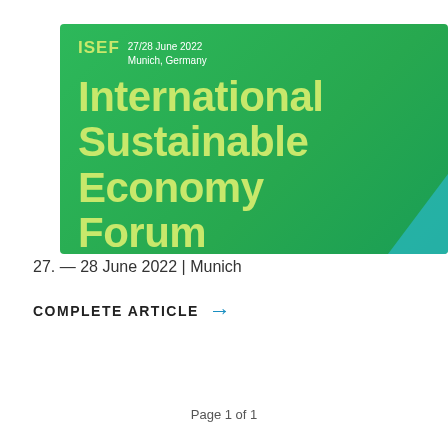[Figure (illustration): Green banner for ISEF - International Sustainable Economy Forum, 27/28 June 2022, Munich, Germany. Bold yellow-green text on gradient green background with teal triangle accent.]
27. — 28 June 2022 | Munich
COMPLETE ARTICLE →
Page 1 of 1